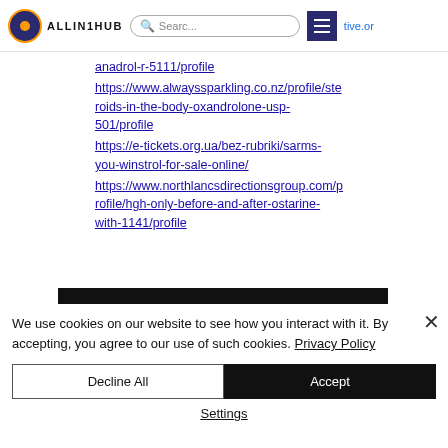ALLIN1HUB | Search... | tive.or
anadrol-r-5111/profile
https://www.alwayssparkling.co.nz/profile/steroids-in-the-body-oxandrolone-usp-501/profile
https://e-tickets.org.ua/bez-rubriki/sarms-you-winstrol-for-sale-online/
https://www.northlancsdirectionsgroup.com/profile/hgh-only-before-and-after-ostarine-with-1141/profile
We use cookies on our website to see how you interact with it. By accepting, you agree to our use of such cookies. Privacy Policy
Decline All | Accept | Settings